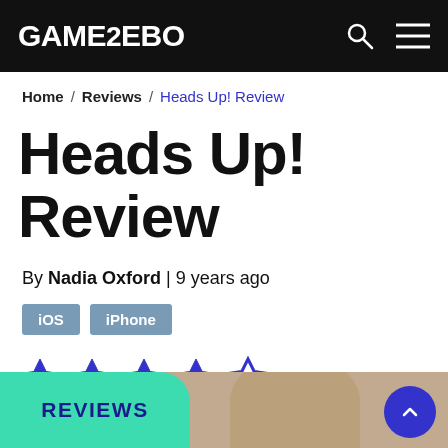GAMEZEBO
Home / Reviews / Heads Up! Review
Heads Up! Review
By Nadia Oxford | 9 years ago
iOS
iPhone
[Figure (other): 4 out of 5 stars rating — 4 filled blue stars and 1 empty star outline]
[Figure (photo): Bottom section showing REVIEWS badge in teal, a photo of a person holding a phone to their forehead, and a blue scroll-up button]